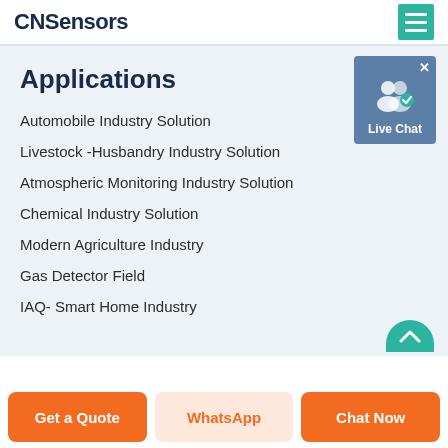CNSensors
Applications
Automobile Industry Solution
Livestock -Husbandry Industry Solution
Atmospheric Monitoring Industry Solution
Chemical Industry Solution
Modern Agriculture Industry
Gas Detector Field
IAQ- Smart Home Industry
[Figure (screenshot): Live Chat widget with user icon and badge]
Get a Quote
WhatsApp
Chat Now